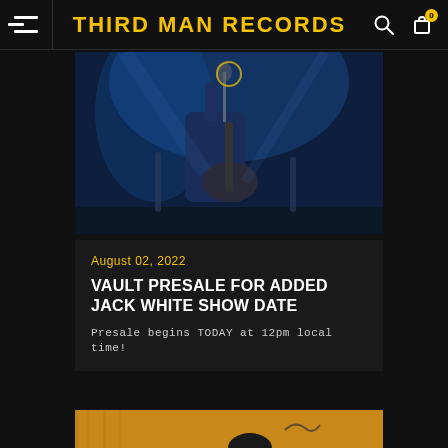THIRD MAN RECORDS
[Figure (photo): Concert photo of a guitarist performing on stage with blue stage lighting, holding an electric guitar]
August 02, 2022
VAULT PRESALE FOR ADDED JACK WHITE SHOW DATE
Presale begins TODAY at 12pm local time!
[Figure (photo): Partial photo showing a person at what appears to be a signing table with yellow background]